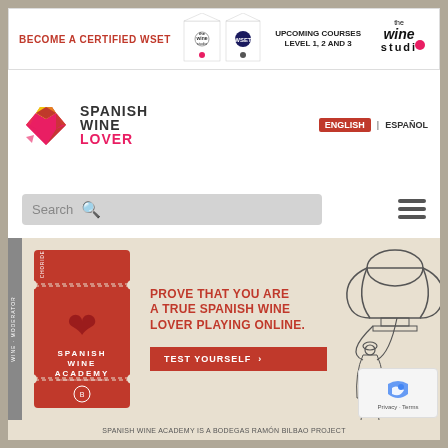[Figure (screenshot): Top banner ad: BECOME A CERTIFIED WSET with The Wine Studio and WSET logos, UPCOMING COURSES LEVEL 1, 2 and 3, and The Wine Studio logo on the right]
[Figure (logo): Spanish Wine Lover logo with geometric heart and text SPANISH WINE LOVER]
ENGLISH | ESPAÑOL
[Figure (screenshot): Search bar with placeholder text 'Search', search icon, and hamburger menu icon]
[Figure (infographic): Promotional banner: Spanish Wine Academy ticket graphic on left, center text PROVE THAT YOU ARE A TRUE SPANISH WINE LOVER PLAYING ONLINE. with TEST YOURSELF button, and illustration of man with trophy on right]
SPANISH WINE ACADEMY IS A BODEGAS RAMÓN BILBAO PROJECT